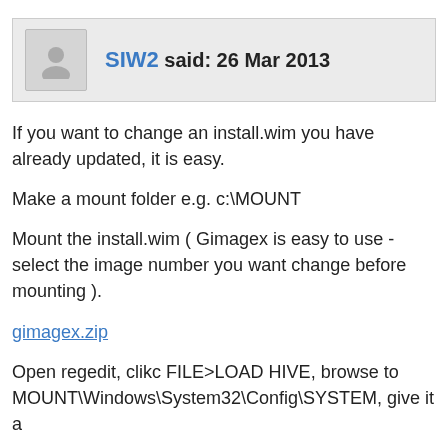SIW2 said: 26 Mar 2013
If you want to change an install.wim you have already updated, it is easy.
Make a mount folder e.g. c:\MOUNT
Mount the install.wim ( Gimagex is easy to use -select the image number you want change before mounting ).
gimagex.zip
Open regedit, clikc FILE>LOAD HIVE, browse to MOUNT\Windows\System32\Config\SYSTEM, give it a